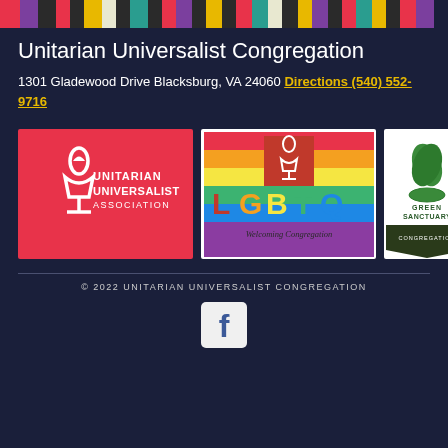[Figure (illustration): Multicolored rainbow stripe bar across the top of the page]
Unitarian Universalist Congregation
1301 Gladewood Drive Blacksburg, VA 24060 Directions (540) 552-9716
[Figure (logo): Three logos in a row: Unitarian Universalist Association (red background with chalice flame), LGBTQ Welcoming Congregation (rainbow stripes with chalice), Green Sanctuary Congregation (green leaves and lamp)]
© 2022 UNITARIAN UNIVERSALIST CONGREGATION
[Figure (logo): Facebook social media icon (white 'f' on dark square)]